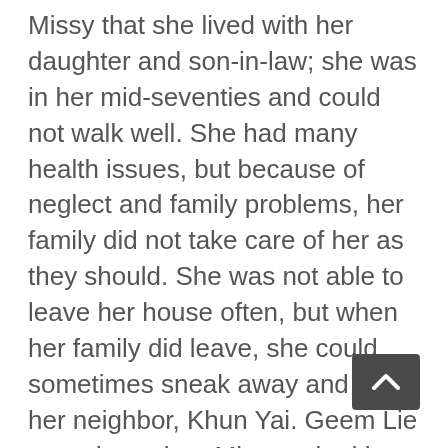Missy that she lived with her daughter and son-in-law; she was in her mid-seventies and could not walk well. She had many health issues, but because of neglect and family problems, her family did not take care of her as they should. She was not able to leave her house often, but when her family did leave, she could sometimes sneak away and visit her neighbor, Khun Yai. Geem Lie teared up when Missy asked her if she wanted to know how she could go to Heaven when she died. She said, “I have a friend who knows Jesus, and she has told me about her church. Many times, she has invited me, but since I am unable to travel, I have never gone to church.” Missy was able to show her, from Scripture, how she could know she would go to Heaven, and when she died, Khun Yai went to